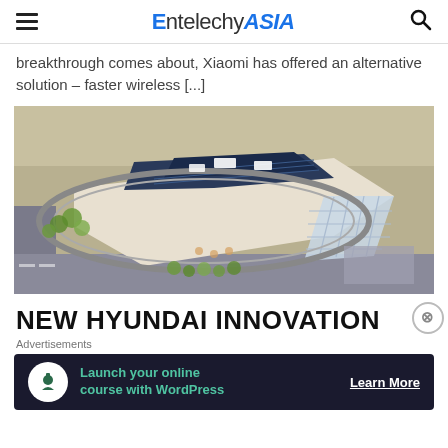EntelechyASIA
breakthrough comes about, Xiaomi has offered an alternative solution – faster wireless [...]
[Figure (photo): Aerial rendering of a large modern Hyundai innovation facility/building complex with solar panels on the roof, surrounded by roads and green landscaping.]
NEW HYUNDAI INNOVATION
Advertisements
[Figure (infographic): Advertisement banner: 'Launch your online course with WordPress' with a Learn More call to action on a dark navy background.]